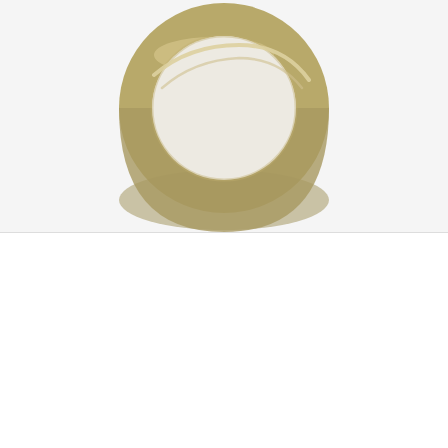[Figure (photo): A gold/tan colored ring (jewelry) viewed from the front, showing a circular band shape, against a light gray/white background. The ring is partially cropped at the bottom.]
We use cookies on our website to give you the most relevant experience by remembering your preferences and repeat visits. By clicking "Accept All", you consent to the use of ALL the cookies. However, you may visit "Cookie Settings" to provide a controlled consent.
Cookie Settings
Accept All